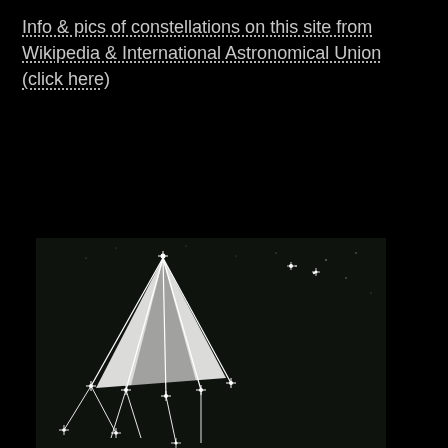Info & pics of constellations on this site from Wikipedia & International Astronomical Union (click here)
[Figure (illustration): Black and white image of a constellation diagram showing stars connected by lines forming a triangular/pyramid shape on a dark night sky background]